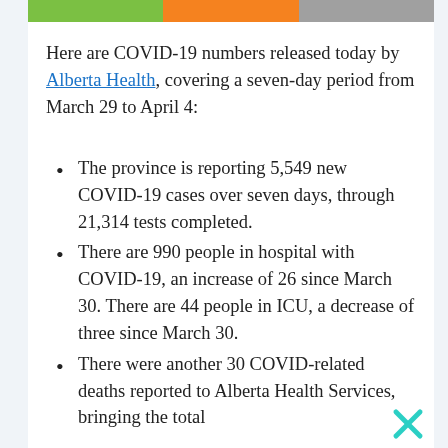[Figure (other): Three colored horizontal bars at top: green, orange, gray]
Here are COVID-19 numbers released today by Alberta Health, covering a seven-day period from March 29 to April 4:
The province is reporting 5,549 new COVID-19 cases over seven days, through 21,314 tests completed.
There are 990 people in hospital with COVID-19, an increase of 26 since March 30. There are 44 people in ICU, a decrease of three since March 30.
There were another 30 COVID-related deaths reported to Alberta Health Services, bringing the total